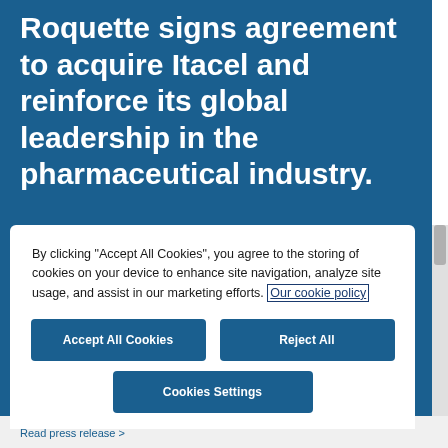Roquette signs agreement to acquire Itacel and reinforce its global leadership in the pharmaceutical industry.
By clicking "Accept All Cookies", you agree to the storing of cookies on your device to enhance site navigation, analyze site usage, and assist in our marketing efforts. Our cookie policy
Accept All Cookies
Reject All
Cookies Settings
Read press release >